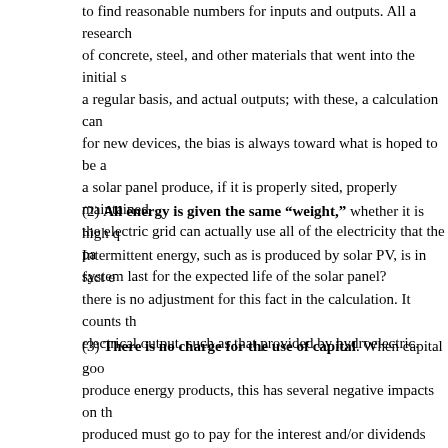to find reasonable numbers for inputs and outputs. All a research of concrete, steel, and other materials that went into the initial s a regular basis, and actual outputs; with these, a calculation can for new devices, the bias is always toward what is hoped to be a a solar panel produce, if it is properly sited, properly maintained the electric grid can actually use all of the electricity that the pa system last for the expected life of the solar panel?
(2) All energy is given the same “weight,” whether it is high q Intermittent energy, such as is produced by solar PV, is in fact e there is no adjustment for this fact in the calculation. It counts t electrical output, such as that provided by hydroelectric.
(3) There is no charge for the use of capital. When capital goo produce energy products, this has several negative impacts on th produced must go to pay for the interest and/or dividends relate is energy cost assigned to this; (b) A country’s debt to GDP ratio required to use ever-more debt to finance all of the new capital p economy tends to become ever more concentrated in the m...